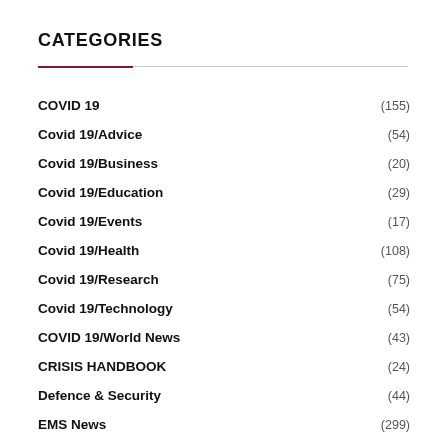CATEGORIES
COVID 19 (155)
Covid 19/Advice (54)
Covid 19/Business (20)
Covid 19/Education (29)
Covid 19/Events (17)
Covid 19/Health (108)
Covid 19/Research (75)
Covid 19/Technology (54)
COVID 19/World News (43)
CRISIS HANDBOOK (24)
Defence & Security (44)
EMS News (299)